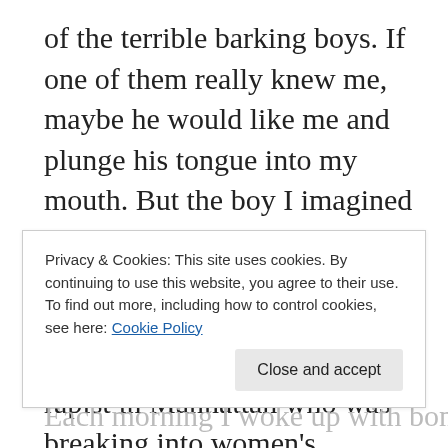of the terrible barking boys. If one of them really knew me, maybe he would like me and plunge his tongue into my mouth. But the boy I imagined began howling. I could see his lips widen, his teeth like sharpened knives. I'd heard a story on the news about a rapist in Manhattan who was breaking into women's apartments and slashing their throats with a carving knife. As p.m. turned to a.m. on my digital clock radio, I thought about my mother's carving knife in the kitchen, the same
Privacy & Cookies: This site uses cookies. By continuing to use this website, you agree to their use.
To find out more, including how to control cookies, see here: Cookie Policy
Each morning I woke up with bone-crushing